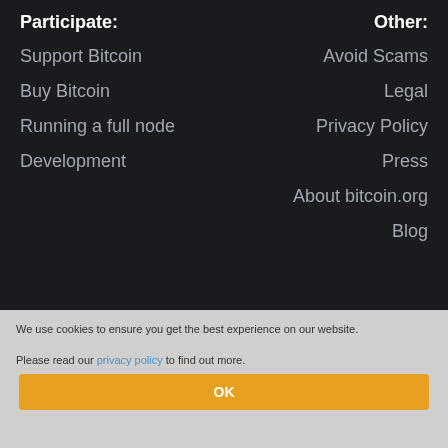Participate:
Other:
Support Bitcoin
Avoid Scams
Buy Bitcoin
Legal
Running a full node
Privacy Policy
Development
Press
About bitcoin.org
Blog
We use cookies to ensure you get the best experience on our website.

Please read our privacy policy to find out more.
OK